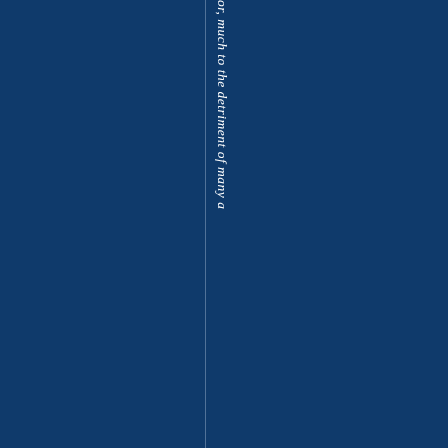[Figure (other): Dark navy blue background page with a faint vertical dividing line and italic white text reading 'or, much to the detriment of many a' rotated 90 degrees vertically along the right portion of the page.]